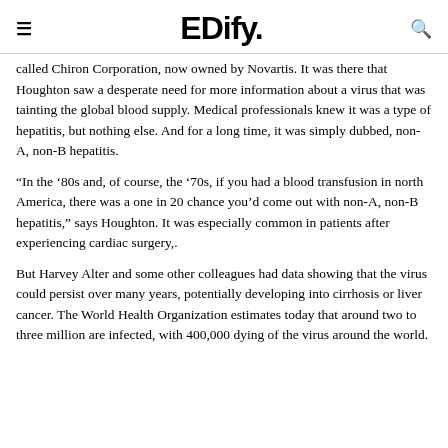EDify.
called Chiron Corporation, now owned by Novartis. It was there that Houghton saw a desperate need for more information about a virus that was tainting the global blood supply. Medical professionals knew it was a type of hepatitis, but nothing else. And for a long time, it was simply dubbed, non-A, non-B hepatitis.
“In the ‘80s and, of course, the ‘70s, if you had a blood transfusion in north America, there was a one in 20 chance you’d come out with non-A, non-B hepatitis,” says Houghton. It was especially common in patients after experiencing cardiac surgery,.
But Harvey Alter and some other colleagues had data showing that the virus could persist over many years, potentially developing into cirrhosis or liver cancer. The World Health Organization estimates today that around two to three million are infected, with 400,000 dying of the virus around the world.